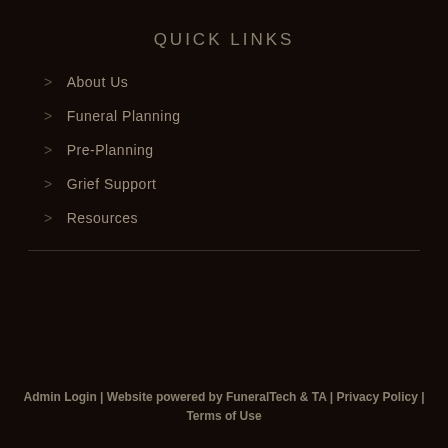QUICK LINKS
About Us
Funeral Planning
Pre-Planning
Grief Support
Resources
Admin Login | Website powered by FuneralTech & TA | Privacy Policy | Terms of Use